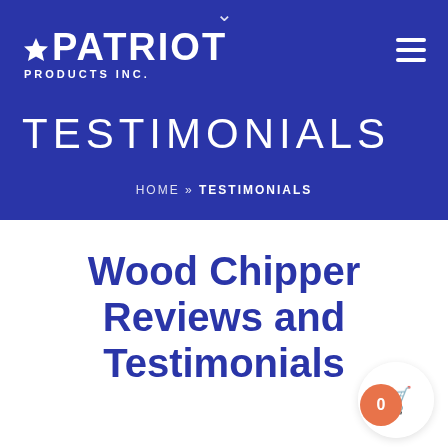PATRIOT PRODUCTS INC.
TESTIMONIALS
HOME » TESTIMONIALS
Wood Chipper Reviews and Testimonials